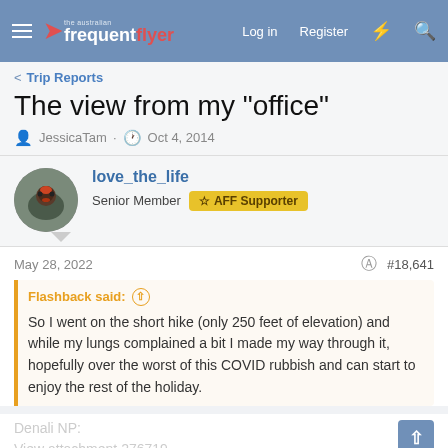The Australian Frequent Flyer — Log in  Register
Trip Reports
The view from my "office"
JessicaTam · Oct 4, 2014
love_the_life
Senior Member  AFF Supporter
May 28, 2022  #18,641
Flashback said: ↑

So I went on the short hike (only 250 feet of elevation) and while my lungs complained a bit I made my way through it, hopefully over the worst of this COVID rubbish and can start to enjoy the rest of the holiday.
Denali NP:
View attachment 276719
click to expand